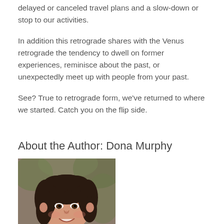delayed or canceled travel plans and a slow-down or stop to our activities.
In addition this retrograde shares with the Venus retrograde the tendency to dwell on former experiences, reminisce about the past, or unexpectedly meet up with people from your past.
See? True to retrograde form, we've returned to where we started. Catch you on the flip side.
About the Author: Dona Murphy
[Figure (photo): Portrait photo of Dona Murphy, a woman with curly dark hair, smiling, wearing a red top, outdoors with blurred background.]
Dona Murphy is the owner of Destiny Tarot. She lives and works in Lake Bluff Illinois as a Tarot